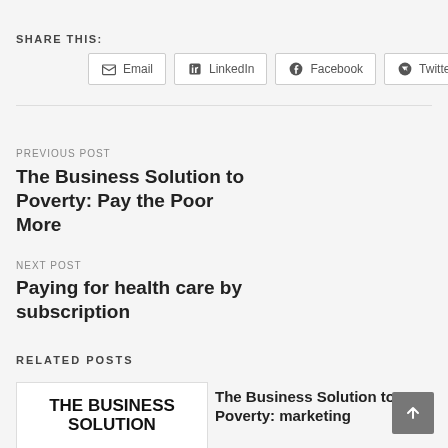SHARE THIS:
Email  LinkedIn  Facebook  Twitter
PREVIOUS POST
The Business Solution to Poverty: Pay the Poor More
NEXT POST
Paying for health care by subscription
RELATED POSTS
[Figure (logo): THE BUSINESS SOLUTION logo text block in bold black on white]
The Business Solution to Poverty: marketing